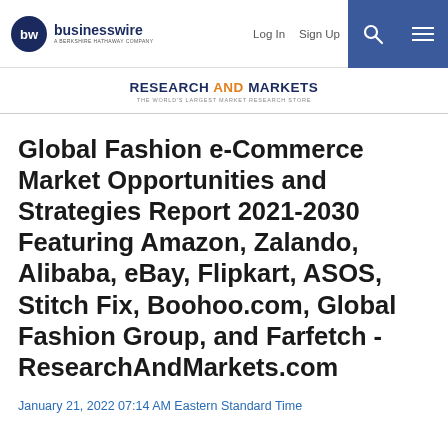businesswire — A BERKSHIRE HATHAWAY COMPANY | Log In | Sign Up
[Figure (logo): Research and Markets — The World's Largest Market Research Store logo]
Global Fashion e-Commerce Market Opportunities and Strategies Report 2021-2030 Featuring Amazon, Zalando, Alibaba, eBay, Flipkart, ASOS, Stitch Fix, Boohoo.com, Global Fashion Group, and Farfetch - ResearchAndMarkets.com
January 21, 2022 07:14 AM Eastern Standard Time